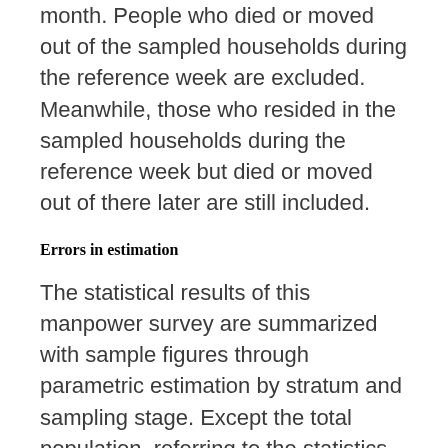month. People who died or moved out of the sampled households during the reference week are excluded. Meanwhile, those who resided in the sampled households during the reference week but died or moved out of there later are still included.
Errors in estimation
The statistical results of this manpower survey are summarized with sample figures through parametric estimation by stratum and sampling stage. Except the total population, referring to the statistics resulted from household registration in the same period, not affected by errors in estimation, the rest of parametric estimates were influenced by random factors so that results might be allowably deviated from their true